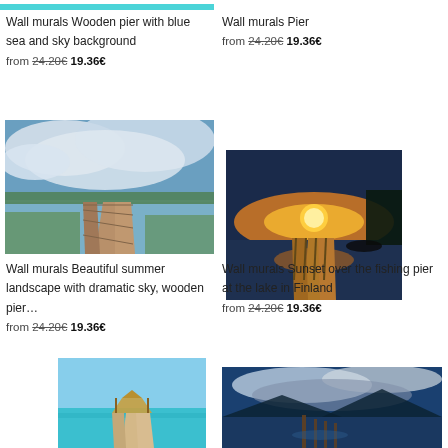[Figure (photo): Top partial image of wooden pier with blue sea and sky, cropped at top]
Wall murals Wooden pier with blue sea and sky background
from 24.20€ 19.36€
Wall murals Pier
from 24.20€ 19.36€
[Figure (photo): Beautiful summer landscape with dramatic sky, wooden pier extending into calm lake]
[Figure (photo): Sunset over a fishing pier at a lake, warm orange glow]
Wall murals Beautiful summer landscape with dramatic sky, wooden pier…
from 24.20€ 19.36€
Wall murals Sunset over the fishing pier at the lake in Finland
from 24.20€ 19.36€
[Figure (photo): Tropical pier with thatched roof gazebo over turquoise water]
[Figure (photo): Lake at dusk with wooden pier posts, dramatic blue sky with clouds and mountains]